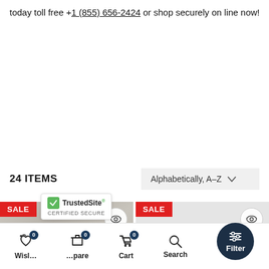today toll free +1 (855) 656-2424 or shop securely on line now!
24 ITEMS
Alphabetically, A-Z
[Figure (photo): Bedroom headboard product photo with SALE badge, eye icon and heart icon overlay buttons]
[Figure (photo): Second product photo placeholder with SALE badge, eye icon and heart icon overlay buttons]
[Figure (screenshot): TrustedSite Certified Secure badge overlay]
Wishlist  Compare  Cart  Search  Filter